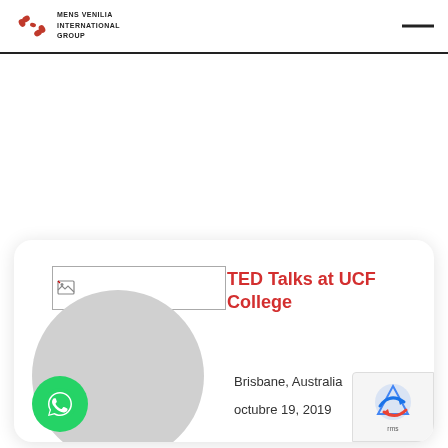MENS VENILIA INTERNATIONAL GROUP
[Figure (logo): Mens Venilia International Group logo with red star/cross icon and company name text]
TED Talks at UCF College
Brisbane, Australia
octubre 19, 2019
[Figure (photo): Gray circular avatar placeholder and broken image icon above it]
[Figure (other): WhatsApp green circular button with phone icon]